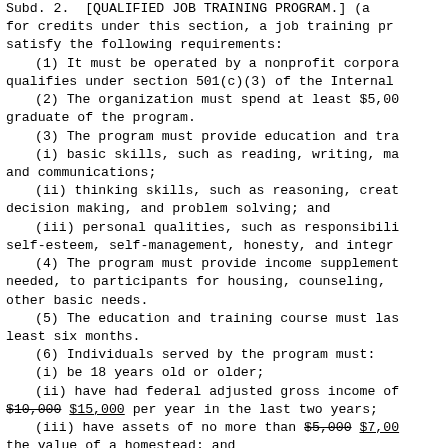Subd. 2. [QUALIFIED JOB TRAINING PROGRAM.] (a for credits under this section, a job training pr satisfy the following requirements:
(1) It must be operated by a nonprofit corpora qualifies under section 501(c)(3) of the Internal
(2) The organization must spend at least $5,00 graduate of the program.
(3) The program must provide education and tra
(i) basic skills, such as reading, writing, ma and communications;
(ii) thinking skills, such as reasoning, creat decision making, and problem solving; and
(iii) personal qualities, such as responsibili self-esteem, self-management, honesty, and integr
(4) The program must provide income supplement needed, to participants for housing, counseling, other basic needs.
(5) The education and training course must las least six months.
(6) Individuals served by the program must:
(i) be 18 years old or older;
(ii) have had federal adjusted gross income of $10,000 $15,000 per year in the last two years;
(iii) have assets of no more than $5,000 $7,00 the value of a homestead; and